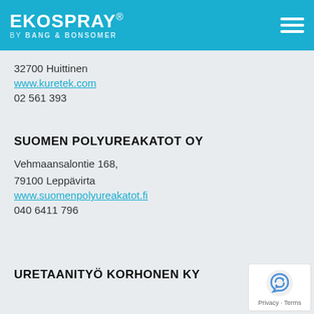EKOSPRAY® by BANG & BONSOMER
32700 Huittinen
www.kuretek.com
02 561 393
SUOMEN POLYUREAKATOT OY
Vehmaansalontie 168,
79100 Leppävirta
www.suomenpolyureakatot.fi
040 6411 796
URETAANITYÖ KORHONEN KY
[Figure (logo): reCAPTCHA badge with Privacy and Terms links]